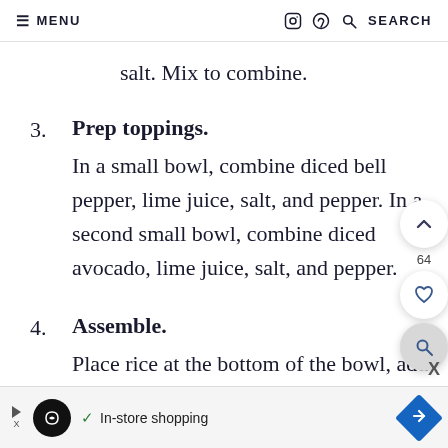≡ MENU   [instagram] [pinterest] 🔍 SEARCH
salt. Mix to combine.
3. Prep toppings. In a small bowl, combine diced bell pepper, lime juice, salt, and pepper. In a second small bowl, combine diced avocado, lime juice, salt, and pepper.
4. Assemble. Place rice at the bottom of the bowl, add
In-store shopping [ad]